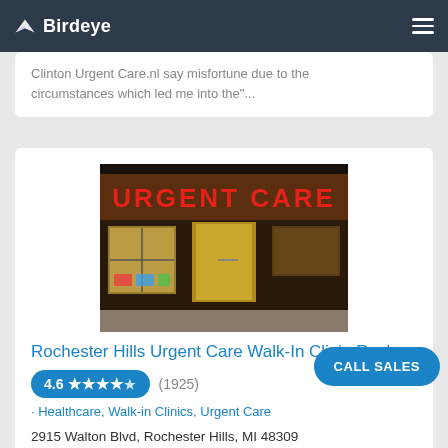Birdeye
Clinton Urgent Care.nl say misfortune due to the circumstances which led me into the"...
[Figure (photo): Nighttime photo of an Urgent Care storefront with illuminated red 'URGENT CARE' sign above the entrance, yellow door visible, strip-mall style building]
Rochester Hills Urgent Care Walk-In Clinic-Rocl
4.6 ★★★★½ (1925)
· Healthcare, Walk-in Clinics, Urgent Care
2915 Walton Blvd, Rochester Hills, MI 48309
(248) 759-4222
"Great place"...